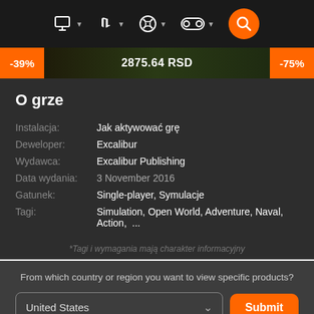Navigation bar with PC, PlayStation, Xbox, Nintendo icons and search button
-39%   2875.64 RSD   -75%
O grze
| Label | Value |
| --- | --- |
| Instalacja: | Jak aktywować grę |
| Deweloper: | Excalibur |
| Wydawca: | Excalibur Publishing |
| Data wydania: | 3 November 2016 |
| Gatunek: | Single-player, Symulacje |
| Tagi: | Simulation, Open World, Adventure, Naval, Action, ... |
*Tagi i wymagania mają charakter informacyjny
From which country or region you want to view specific products?
United States
Submit